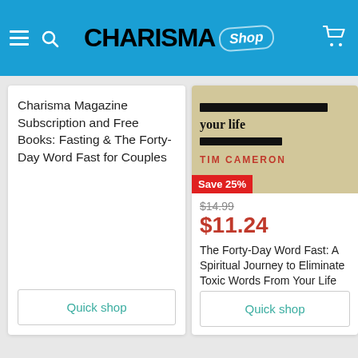CHARISMA Shop
Charisma Magazine Subscription and Free Books: Fasting & The Forty-Day Word Fast for Couples
[Figure (photo): Book cover for The Forty-Day Word Fast by Tim Cameron, showing text partially redacted with black bars, with 'your life' visible and author name in red. A red Save 25% badge overlays the bottom left.]
$14.99
$11.24
The Forty-Day Word Fast: A Spiritual Journey to Eliminate Toxic Words From Your Life
Quick shop
Quick shop